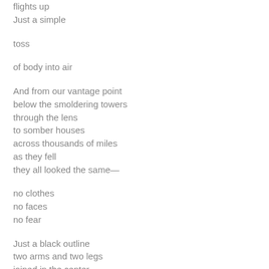flights up
Just a simple

toss

of body into air

And from our vantage point
below the smoldering towers
through the lens
to somber houses
across thousands of miles
as they fell
they all looked the same—

no clothes
no faces
no fear

Just a black outline
two arms and two legs
joined in the center